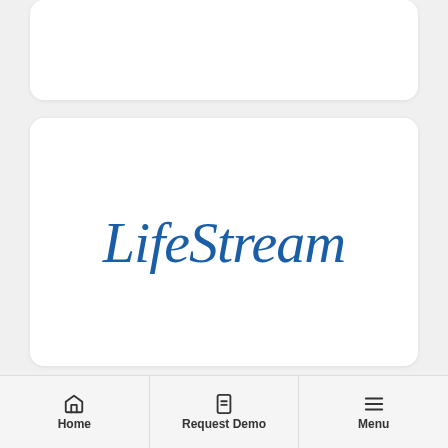[Figure (logo): LifeStream logo in italic serif blue text on white card]
NEWS
Streamline Partners with LifeStream
Home | Request Demo | Menu